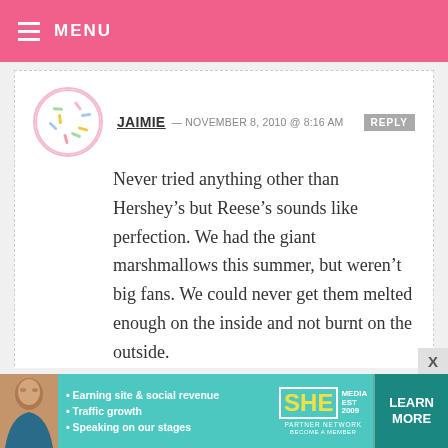MENU
JAIMIE — NOVEMBER 8, 2010 @ 8:16 AM  REPLY
Never tried anything other than Hershey's but Reese's sounds like perfection. We had the giant marshmallows this summer, but weren't big fans. We could never get them melted enough on the inside and not burnt on the outside.
JENNIFER — NOVEMBER 8, 2010 @ 8:15 AM  REPLY
[Figure (infographic): SHE Partner Network advertisement banner with photo of a woman, bullet points: Earning site & social revenue, Traffic growth, Speaking on our stages, SHE Partner Network logo, Become a Member, Learn More button]